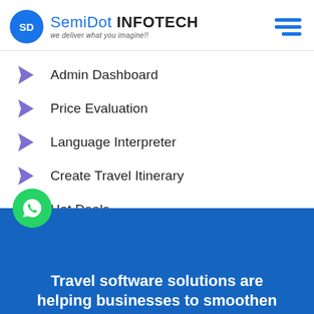SemiDot INFOTECH — we deliver what you imagine!!
Admin Dashboard
Price Evaluation
Language Interpreter
Create Travel Itinerary
Hot Deals
Virtual Tour Guide
Travel software solutions are helping businesses to smoothen